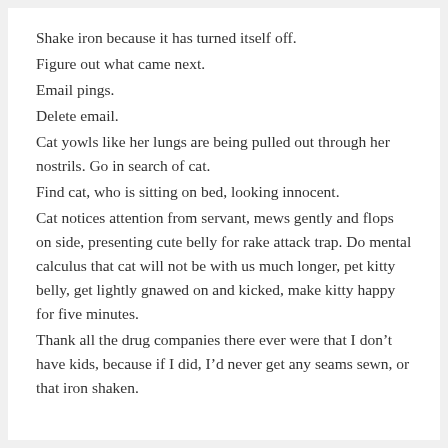Shake iron because it has turned itself off.
Figure out what came next.
Email pings.
Delete email.
Cat yowls like her lungs are being pulled out through her nostrils. Go in search of cat.
Find cat, who is sitting on bed, looking innocent.
Cat notices attention from servant, mews gently and flops on side, presenting cute belly for rake attack trap. Do mental calculus that cat will not be with us much longer, pet kitty belly, get lightly gnawed on and kicked, make kitty happy for five minutes.
Thank all the drug companies there ever were that I don't have kids, because if I did, I'd never get any seams sewn, or that iron shaken.